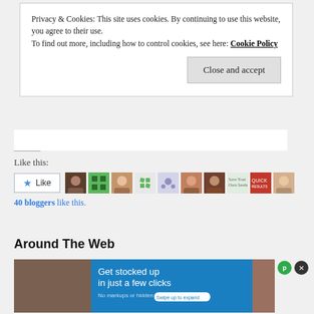Privacy & Cookies: This site uses cookies. By continuing to use this website, you agree to their use. To find out more, including how to control cookies, see here: Cookie Policy
Close and accept
Like this:
40 bloggers like this.
Around The Web
[Figure (screenshot): Advertisement overlay with blue background reading 'Get stocked up in just a few clicks' with small text 'No markups or hidden fees.' and a 'Swipe up to expand' pill button]